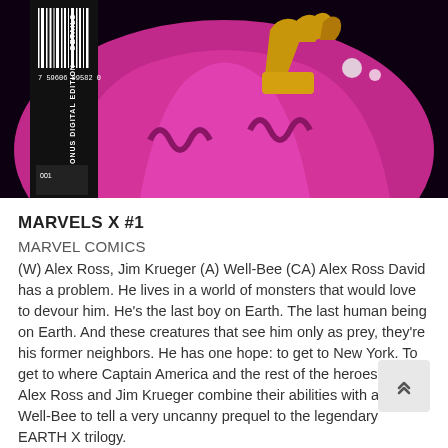[Figure (illustration): Comic book cover art for Marvels X #1 showing a pink/magenta-costumed character with a barcode and 'BONUS DIGITAL EDITION' text on the left side, and a hand reaching out on the right side, against a dark background.]
MARVELS X #1
MARVEL COMICS
(W) Alex Ross, Jim Krueger (A) Well-Bee (CA) Alex Ross David has a problem. He lives in a world of monsters that would love to devour him. He’s the last boy on Earth. The last human being on Earth. And these creatures that see him only as prey, they’re his former neighbors. He has one hope: to get to New York. To get to where Captain America and the rest of the heroes are. Alex Ross and Jim Krueger combine their abilities with artist Well-Bee to tell a very uncanny prequel to the legendary EARTH X trilogy.
BATMAN #86
DC COMICS